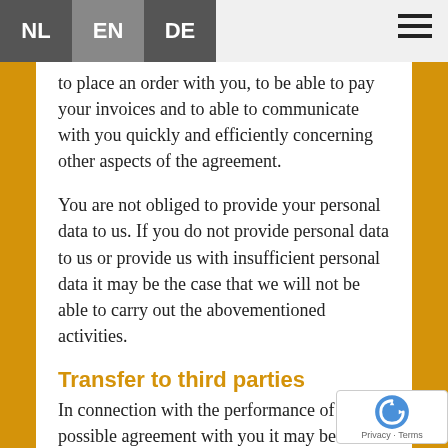NL EN DE
to place an order with you, to be able to pay your invoices and to able to communicate with you quickly and efficiently concerning other aspects of the agreement.
You are not obliged to provide your personal data to us. If you do not provide personal data to us or provide us with insufficient personal data it may be the case that we will not be able to carry out the abovementioned activities.
Transfer to third parties
In connection with the performance of a possible agreement with you it may be necessary to provide your personal data to parties that supply parts, materials or products to us or who perform